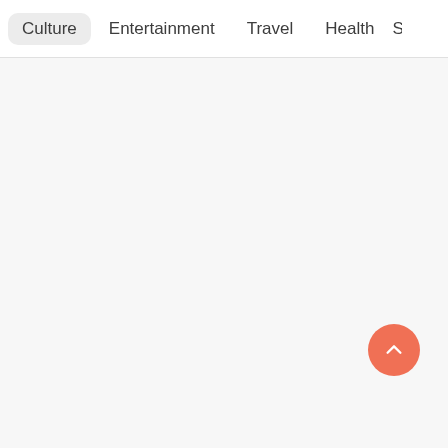Culture  Entertainment  Travel  Health  S
[Figure (screenshot): Scroll-to-top button, a circular coral/salmon colored button with a white upward chevron arrow, positioned in the lower right area of the page.]